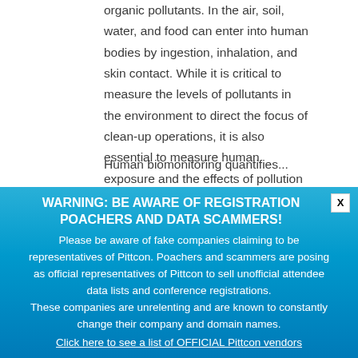organic pollutants. In the air, soil, water, and food can enter into human bodies by ingestion, inhalation, and skin contact. While it is critical to measure the levels of pollutants in the environment to direct the focus of clean-up operations, it is also essential to measure human exposure and the effects of pollution on human health.
Human biomonitoring quantifies...
[Figure (screenshot): Warning popup overlay with blue gradient background. Title: 'WARNING: BE AWARE OF REGISTRATION POACHERS AND DATA SCAMMERS!' Body text warns about fake companies claiming to be representatives of Pittcon. Poachers and scammers are posing as official representatives of Pittcon to sell unofficial attendee data lists and conference registrations. These companies are unrelenting and are known to constantly change their company and domain names. Includes a link: 'Click here to see a list of OFFICIAL Pittcon vendors'. A close button marked 'X' is in the top right corner.]